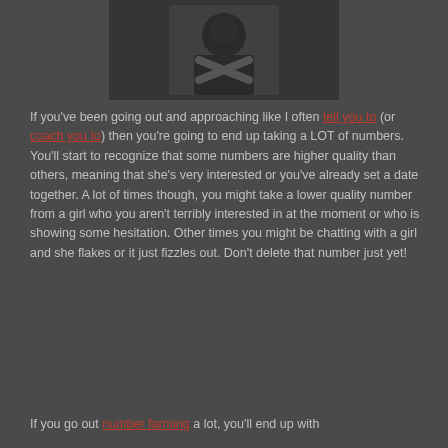[Figure (photo): Dark photo of a person with crossed arms or hands gesture, dimly lit background]
If you've been going out and approaching like I often tell you to (or coach you to) then you're going to end up taking a LOT of numbers. You'll start to recognize that some numbers are higher quality than others, meaning that she's very interested or you've already set a date together. A lot of times though, you might take a lower quality number from a girl who you aren't terribly interested in at the moment or who is showing some hesitation.  Other times you might be chatting with a girl and she flakes or it just fizzles out.  Don't delete that number just yet!
If you go out number farming a lot, you'll end up with